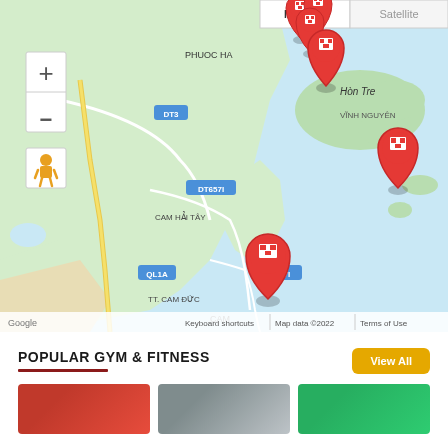[Figure (map): Google Maps view of Khanh Hoa / Cam Ranh area in Vietnam showing hotel/building markers in red near Phuoc Ha, Hon Tre island (Vinh Nguyen), and Cam Duc (TT. Cam Duc). Map labels include DT3, DT657I, QL1A, Cam Hai Tay, Hon Tre, Vinh Nguyen. Zoom controls (+/-) and street view pegman visible. Map/Satellite toggle tabs at top right. Google branding and attribution bar at bottom.]
POPULAR GYM & FITNESS
[Figure (photo): Three thumbnail images of gym/fitness facilities shown side by side at bottom of page (partially visible).]